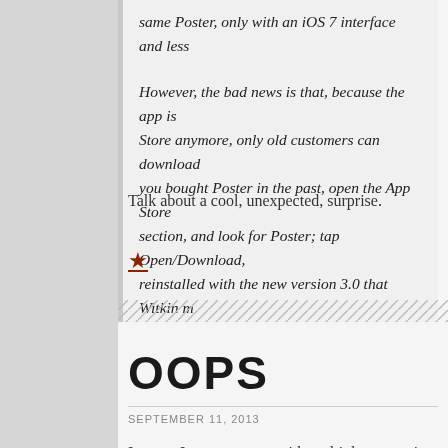same Poster, only with an iOS 7 interface and less
However, the bad news is that, because the app is Store anymore, only old customers can download you bought Poster in the past, open the App Store section, and look for Poster; tap Open/Download, reinstalled with the new version 3.0 that Witkin m
Talk about a cool, unexpected, surprise.
[Figure (other): A brown/dark-red star icon followed by a horizontal underline, used as a decorative separator element in a blog post.]
OOPS
SEPTEMBER 11, 2013
I mean, I now can post with multiple categories per post.